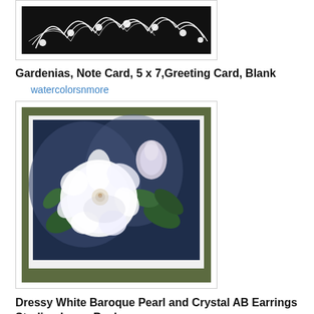[Figure (photo): Partial view of a white pearl and wire tiara/crown on a black background]
Gardenias, Note Card, 5 x 7,Greeting Card, Blank
watercolorsnmore
[Figure (photo): Greeting card featuring a watercolor painting of white gardenia flowers with green leaves on a dark background, card placed on an olive green surface]
Dressy White Baroque Pearl and Crystal AB Earrings Sterling Lever Back